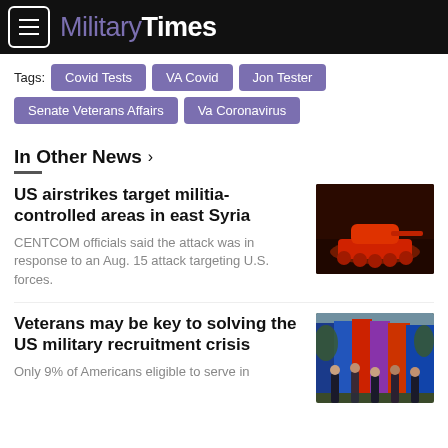Military Times
Tags: Covid Tests  VA Covid  Jon Tester  Senate Veterans Affairs  Va Coronavirus
In Other News >
US airstrikes target militia-controlled areas in east Syria
CENTCOM officials said the attack was in response to an Aug. 15 attack targeting U.S. forces.
[Figure (photo): A military tank illuminated in red light at night]
Veterans may be key to solving the US military recruitment crisis
Only 9% of Americans eligible to serve in
[Figure (photo): Military personnel with colorful flags in the background]